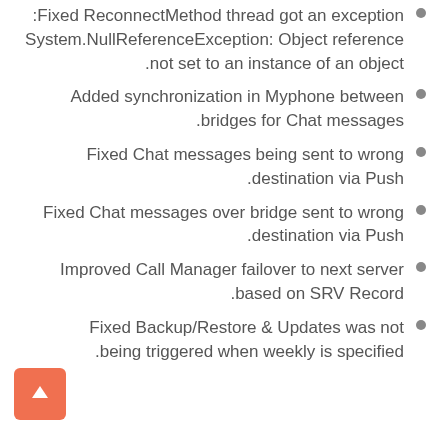Fixed ReconnectMethod thread got an exception: System.NullReferenceException: Object reference not set to an instance of an object.
Added synchronization in Myphone between bridges for Chat messages.
Fixed Chat messages being sent to wrong destination via Push.
Fixed Chat messages over bridge sent to wrong destination via Push.
Improved Call Manager failover to next server based on SRV Record.
Fixed Backup/Restore & Updates was not being triggered when weekly is specified.